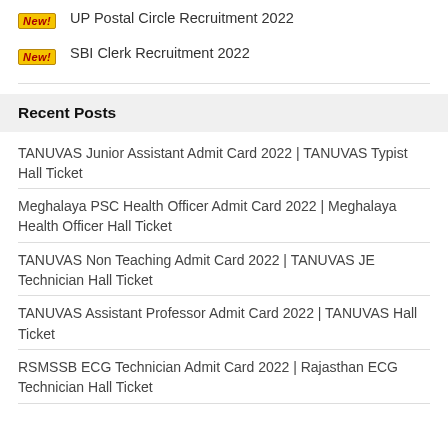UP Postal Circle Recruitment 2022
SBI Clerk Recruitment 2022
Recent Posts
TANUVAS Junior Assistant Admit Card 2022 | TANUVAS Typist Hall Ticket
Meghalaya PSC Health Officer Admit Card 2022 | Meghalaya Health Officer Hall Ticket
TANUVAS Non Teaching Admit Card 2022 | TANUVAS JE Technician Hall Ticket
TANUVAS Assistant Professor Admit Card 2022 | TANUVAS Hall Ticket
RSMSSB ECG Technician Admit Card 2022 | Rajasthan ECG Technician Hall Ticket